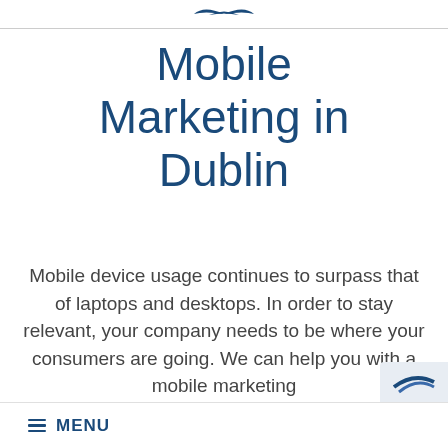[Logo / navigation bar at top]
Mobile Marketing in Dublin
Mobile device usage continues to surpass that of laptops and desktops. In order to stay relevant, your company needs to be where your consumers are going. We can help you with a mobile marketing strategy that...
≡ MENU